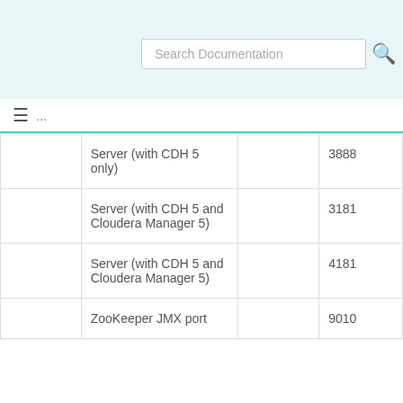Search Documentation
|  | Server (with CDH 5 only) |  | 3888 |
|  | Server (with CDH 5 and Cloudera Manager 5) |  | 3181 |
|  | Server (with CDH 5 and Cloudera Manager 5) |  | 4181 |
|  | ZooKeeper JMX port |  | 9010 |